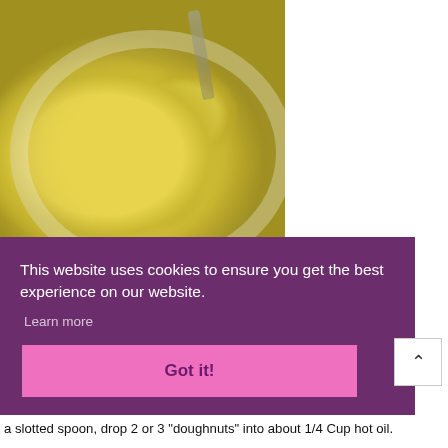[Figure (photo): A paper plate with egg yolk dipping sauce and dough pieces on a yellow-green background, with a fork visible in the upper right area of the plate.]
This website uses cookies to ensure you get the best experience on our website.
Learn more
Got it!
age. With
a slotted spoon, drop 2 or 3 "doughnuts" into about 1/4 Cup hot oil.